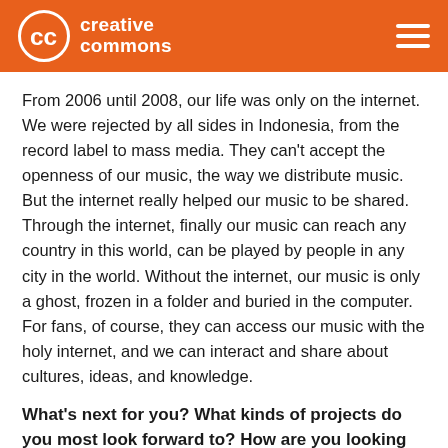creative commons
From 2006 until 2008, our life was only on the internet. We were rejected by all sides in Indonesia, from the record label to mass media. They can't accept the openness of our music, the way we distribute music. But the internet really helped our music to be shared. Through the internet, finally our music can reach any country in this world, can be played by people in any city in the world. Without the internet, our music is only a ghost, frozen in a folder and buried in the computer. For fans, of course, they can access our music with the holy internet, and we can interact and share about cultures, ideas, and knowledge.
What's next for you? What kinds of projects do you most look forward to? How are you looking to collaborate with other musicians in Indonesia and beyond?
We still making music, and share it for free, so we'll keep sharing...